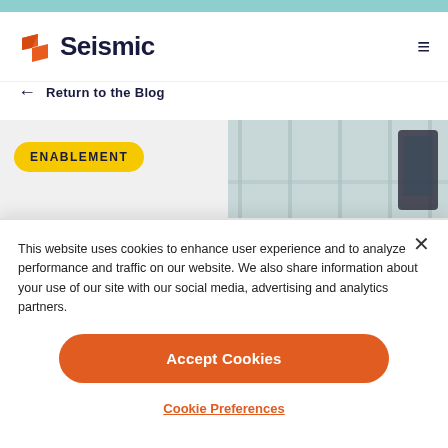[Figure (logo): Seismic logo with orange S-shaped mark and dark blue 'Seismic' wordmark]
← Return to the Blog
[Figure (screenshot): Blog post header image with yellow 'ENABLEMENT' badge on left and a partial office/building photo on the right]
This website uses cookies to enhance user experience and to analyze performance and traffic on our website. We also share information about your use of our site with our social media, advertising and analytics partners.
Accept Cookies
Cookie Preferences